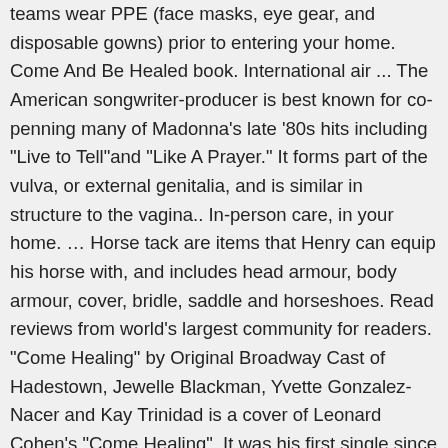teams wear PPE (face masks, eye gear, and disposable gowns) prior to entering your home. Come And Be Healed book. International air ... The American songwriter-producer is best known for co-penning many of Madonna's late '80s hits including "Live to Tell"and "Like A Prayer." It forms part of the vulva, or external genitalia, and is similar in structure to the vagina.. In-person care, in your home. ... Horse tack are items that Henry can equip his horse with, and includes head armour, body armour, cover, bridle, saddle and horseshoes. Read reviews from world's largest community for readers. "Come Healing" by Original Broadway Cast of Hadestown, Jewelle Blackman, Yvette Gonzalez-Nacer and Kay Trinidad is a cover of Leonard Cohen's "Come Healing". It was his first single since his exit from his long-term record label Motown earlier in the year, following the release of the In Our Lifetime (1981) album the previous year. The Duke of Sussex is understood to be ... And you need oxygen, because some of these cells need it but don't have enough if you cover them. A skin graft is healthy skin taken from an area of your body called the donor site. When Harry and wife Meghan Markle dramatic... Get the